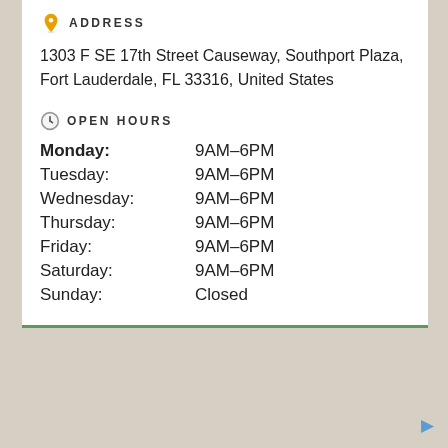ADDRESS
1303 F SE 17th Street Causeway, Southport Plaza, Fort Lauderdale, FL 33316, United States
OPEN HOURS
| Day | Hours |
| --- | --- |
| Monday: | 9AM–6PM |
| Tuesday: | 9AM–6PM |
| Wednesday: | 9AM–6PM |
| Thursday: | 9AM–6PM |
| Friday: | 9AM–6PM |
| Saturday: | 9AM–6PM |
| Sunday: | Closed |
#39 Euro Exchange USA - Fort Lauderdale
Search for
Currency Conversion Table Online
See it